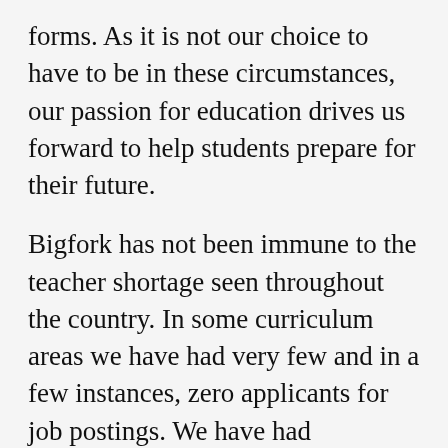forms. As it is not our choice to have to be in these circumstances, our passion for education drives us forward to help students prepare for their future.
Bigfork has not been immune to the teacher shortage seen throughout the country. In some curriculum areas we have had very few and in a few instances, zero applicants for job postings. We have had applicants withdraw at the last minute to go to higher paying districts in the valley. Education continuity and a focus on student learning happens when qualified teachers are retained. Having a competitive salary matrix during teacher shortages...